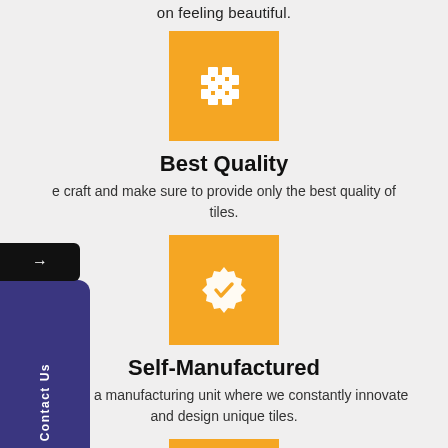on feeling beautiful.
[Figure (illustration): Orange square icon box with white building/tiles grid icon]
Best Quality
e craft and make sure to provide only the best quality of tiles.
[Figure (illustration): Orange square icon box with white badge/verified checkmark icon]
Self-Manufactured
We own a manufacturing unit where we constantly innovate and design unique tiles.
[Figure (illustration): Orange square icon box with white circular support/help icon (partially visible)]
[Figure (illustration): Left sidebar navigation with dark purple background, Contact Us label, arrow button]